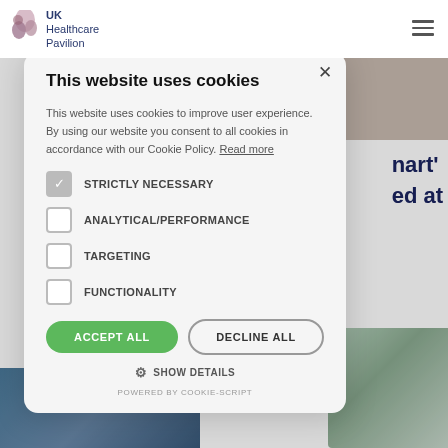[Figure (screenshot): UK Healthcare Pavilion website header with logo and hamburger menu, with background images visible on the right side]
This website uses cookies
This website uses cookies to improve user experience. By using our website you consent to all cookies in accordance with our Cookie Policy. Read more
STRICTLY NECESSARY (checked)
ANALYTICAL/PERFORMANCE
TARGETING
FUNCTIONALITY
ACCEPT ALL | DECLINE ALL
SHOW DETAILS
POWERED BY COOKIE-SCRIPT